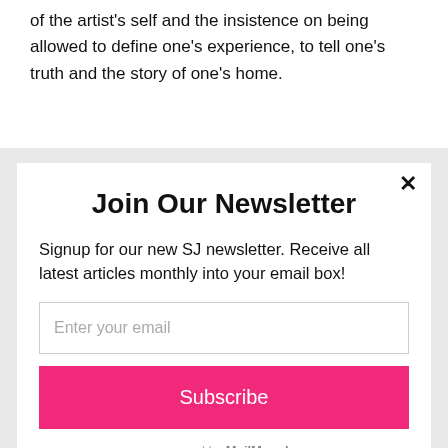of the artist's self and the insistence on being allowed to define one's experience, to tell one's truth and the story of one's home.
Join Our Newsletter
Signup for our new SJ newsletter. Receive all latest articles monthly into your email box!
Enter your email
Subscribe
powered by MailMunch